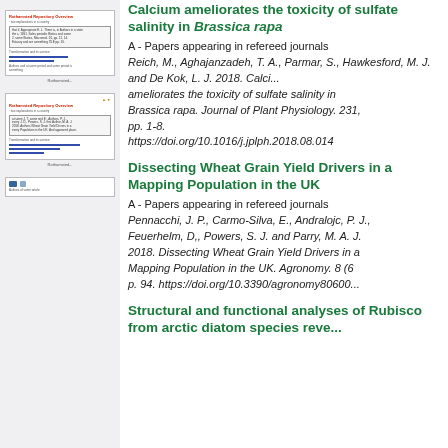[Figure (screenshot): Thumbnail preview of document page for 'Calcium ameliorates the toxicity of sulfate salinity in Brassica rapa']
Calcium ameliorates the toxicity of sulfate salinity in Brassica rapa
A - Papers appearing in refereed journals
Reich, M., Aghajanzadeh, T. A., Parmar, S., Hawkesford, M. J. and De Kok, L. J. 2018. Calcium ameliorates the toxicity of sulfate salinity in Brassica rapa. Journal of Plant Physiology. 231, pp. 1-8. https://doi.org/10.1016/j.jplph.2018.08.014
[Figure (screenshot): Thumbnail preview of document page for 'Dissecting Wheat Grain Yield Drivers in a Mapping Population in the UK']
Dissecting Wheat Grain Yield Drivers in a Mapping Population in the UK
A - Papers appearing in refereed journals
Pennacchi, J. P., Carmo-Silva, E., Andralojc, P. J., Feuerhelm, D,, Powers, S. J. and Parry, M. A. J. 2018. Dissecting Wheat Grain Yield Drivers in a Mapping Population in the UK. Agronomy. 8 (6), p. 94. https://doi.org/10.3390/agronomy8060094
[Figure (screenshot): Thumbnail preview of document page for 'Structural and functional analyses of Rubisco from arctic diatom species']
Structural and functional analyses of Rubisco from arctic diatom species reve...